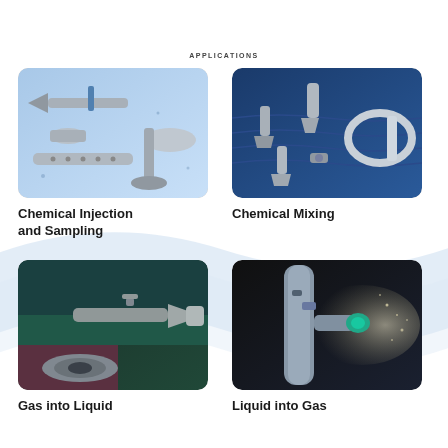APPLICATIONS
[Figure (photo): Metal chemical injection and sampling components including nozzles, fittings, and perforated tubes on a light blue background]
[Figure (photo): Chemical mixing components including nozzles and a transparent mixing body on a dark blue water background]
Chemical Injection and Sampling
Chemical Mixing
[Figure (photo): Gas into liquid injector nozzle and flange fitting on a dark industrial background]
[Figure (photo): Liquid into gas spray nozzle attached to a pipe spraying mist on a dark background]
Gas into Liquid
Liquid into Gas